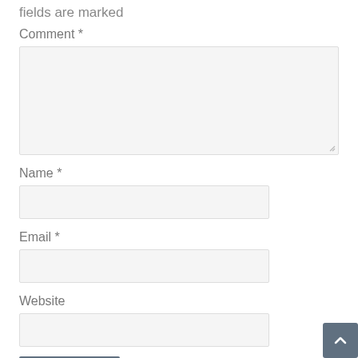fields are marked
Comment *
[Figure (other): Large textarea input box with resize handle in bottom-right corner]
Name *
[Figure (other): Text input field for Name]
Email *
[Figure (other): Text input field for Email]
Website
[Figure (other): Text input field for Website]
Post Comment